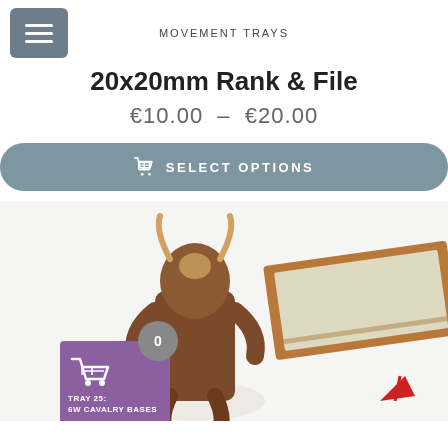MOVEMENT TRAYS
20x20mm Rank & File
€10.00  –  €20.00
SELECT OPTIONS
[Figure (photo): Product photo showing a movement tray (rectangular wooden-framed tray with beige/cream interior surface) and a miniature figurine of a minotaur creature, with a purple shopping cart button overlay showing count 0, and bottom text 'TRAY 25: 6W CAVALRY BASES']